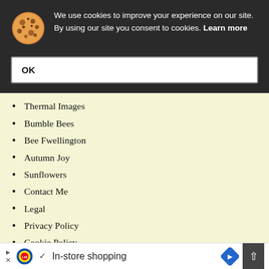We use cookies to improve your experience on our site. By using our site you consent to cookies. Learn more
OK
Thermal Images
Bumble Bees
Bee Fwellington
Autumn Joy
Sunflowers
Contact Me
Legal
Privacy Policy
Cookie Policy
Index
Type here to search
Close X
In-store shopping